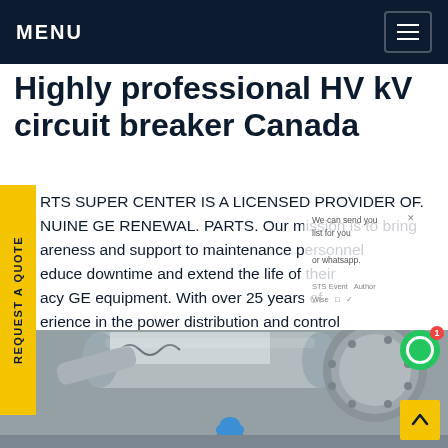MENU
Highly professional HV circuit breaker Canada
RTS SUPER CENTER IS A LICENSED PROVIDER OF. NUINE GE RENEWAL. PARTS. Our mission is to bring areness and support to maintenance personnel educe downtime and extend the life of their acy GE equipment. With over 25 years of erience in the power distribution and control rkets, we are highly qualified to assist you with Get price
[Figure (photo): Industrial heavy machinery / power equipment pipes and components, with a worker in a blue hard hat visible at the bottom of the frame.]